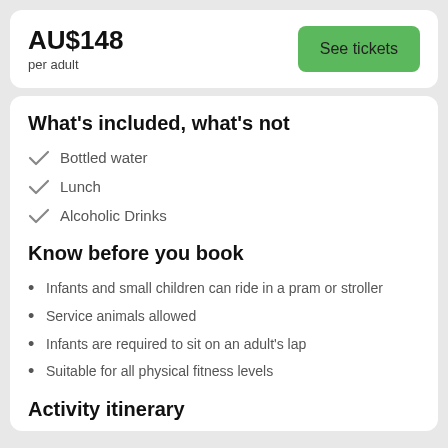AU$148
per adult
See tickets
What's included, what's not
Bottled water
Lunch
Alcoholic Drinks
Know before you book
Infants and small children can ride in a pram or stroller
Service animals allowed
Infants are required to sit on an adult's lap
Suitable for all physical fitness levels
Activity itinerary